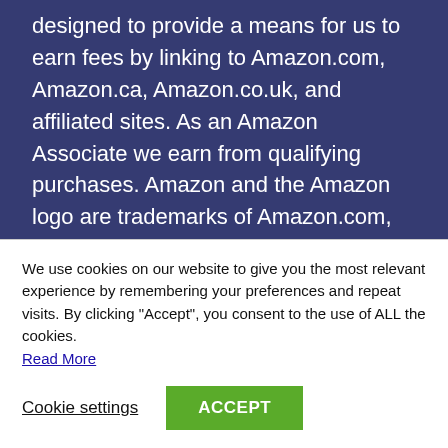designed to provide a means for us to earn fees by linking to Amazon.com, Amazon.ca, Amazon.co.uk, and affiliated sites. As an Amazon Associate we earn from qualifying purchases. Amazon and the Amazon logo are trademarks of Amazon.com, Inc. or its affiliates.
Recent Posts
Best Mattress Topper For Shoulder Pain
We use cookies on our website to give you the most relevant experience by remembering your preferences and repeat visits. By clicking "Accept", you consent to the use of ALL the cookies. Read More
Cookie settings
ACCEPT